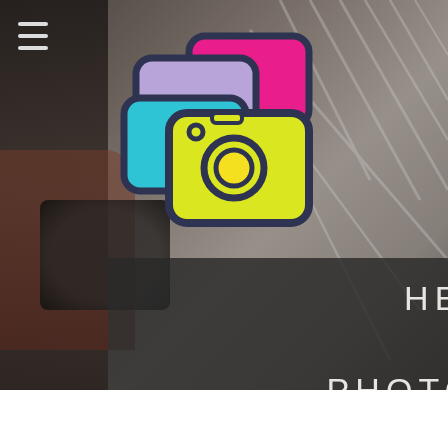[Figure (photo): Blurred background photo of a person holding a DSLR camera, with lattice/grid pattern visible on the right side]
[Figure (logo): Hervey Bay Photography Group logo: stacked camera icons in pink, purple/blue, cyan/teal, and yellow-green colors with dark navy outlines, instagram-style rounded rectangle camera shapes]
HERVEY BAY PHOTOGRAPHY GROUP